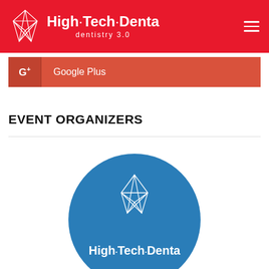High Tech Denta dentistry 3.0
G+  Google Plus
EVENT ORGANIZERS
[Figure (logo): High Tech Denta logo on blue circle background — geometric tooth/crystal icon above the brand name 'High Tech Denta' in white text on a blue circular background]